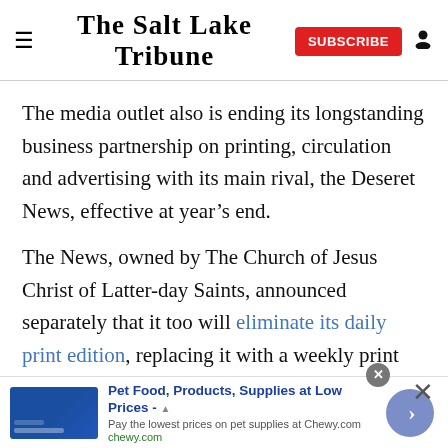The Salt Lake Tribune
The media outlet also is ending its longstanding business partnership on printing, circulation and advertising with its main rival, the Deseret News, effective at year’s end.
The News, owned by The Church of Jesus Christ of Latter-day Saints, announced separately that it too will eliminate its daily print edition, replacing it with a weekly print product for Utah readers as well as a weekly national magazine.
[Figure (infographic): Advertisement banner for Chewy.com: Pet Food, Products, Supplies at Low Prices. Pay the lowest prices on pet supplies at Chewy.com. chewy.com]